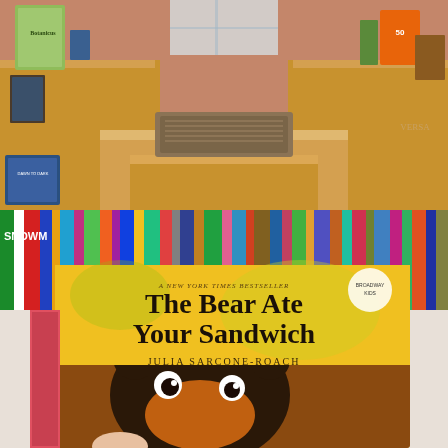[Figure (photo): Interior of a bookshop with wooden display shelves and steps. Various books and products are displayed on the shelves including nature and children's books. A patterned rug is visible on the steps.]
[Figure (photo): A hand holding up the children's book 'The Bear Ate Your Sandwich' by Julia Sarcone-Roach, with a yellow cover featuring an illustrated bear. Behind it is a shelf of colorful children's books arranged spine-out. The book is labeled as a New York Times Bestseller.]